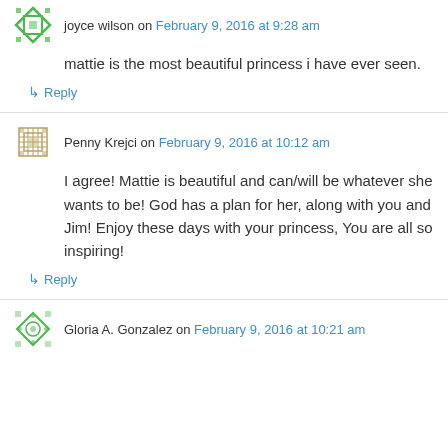joyce wilson on February 9, 2016 at 9:28 am
mattie is the most beautiful princess i have ever seen.
↳ Reply
Penny Krejci on February 9, 2016 at 10:12 am
I agree! Mattie is beautiful and can/will be whatever she wants to be! God has a plan for her, along with you and Jim! Enjoy these days with your princess, You are all so inspiring!
↳ Reply
Gloria A. Gonzalez on February 9, 2016 at 10:21 am